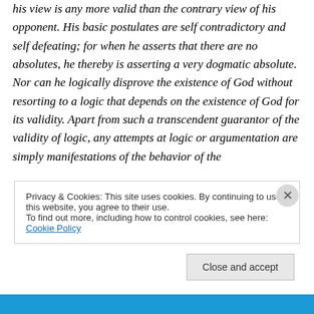his view is any more valid than the contrary view of his opponent. His basic postulates are self contradictory and self defeating; for when he asserts that there are no absolutes, he thereby is asserting a very dogmatic absolute. Nor can he logically disprove the existence of God without resorting to a logic that depends on the existence of God for its validity. Apart from such a transcendent guarantor of the validity of logic, any attempts at logic or argumentation are simply manifestations of the behavior of the
Privacy & Cookies: This site uses cookies. By continuing to use this website, you agree to their use.
To find out more, including how to control cookies, see here: Cookie Policy